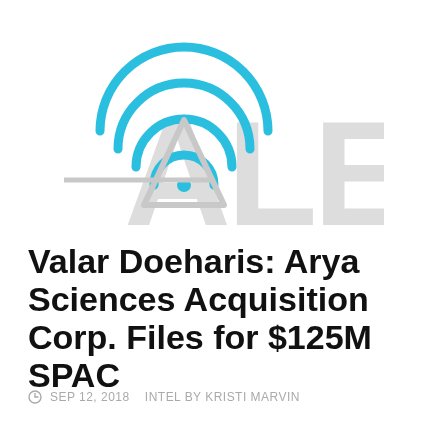[Figure (logo): Circular wifi/broadcast signal icon in cyan/teal blue arcs with a point at bottom, overlaid with large light gray watermark text 'ALERT' behind the icon]
Valar Doeharis: Arya Sciences Acquisition Corp. Files for $125M SPAC
© SEP 12, 2018   INTEL BY KRISTI MARVIN